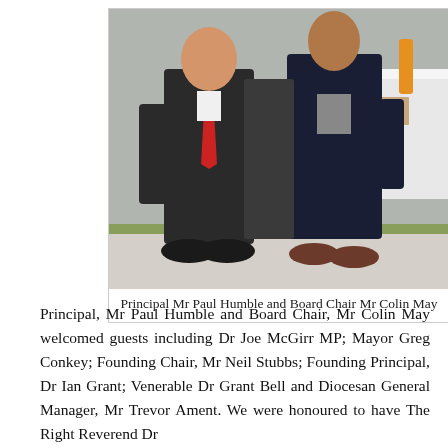[Figure (photo): Two men in dark suits standing together outdoors at an event. The man on the left wears a red tie. Behind them is a white-clothed table with beverages. There is a third person partially visible in the background. The setting appears to be a school or community event.]
Principal Mr Paul Humble and Board Chair Mr Colin May
Principal, Mr Paul Humble and Board Chair, Mr Colin May welcomed guests including Dr Joe McGirr MP; Mayor Greg Conkey; Founding Chair, Mr Neil Stubbs; Founding Principal, Dr Ian Grant; Venerable Dr Grant Bell and Diocesan General Manager, Mr Trevor Ament. We were honoured to have The Right Reverend Dr